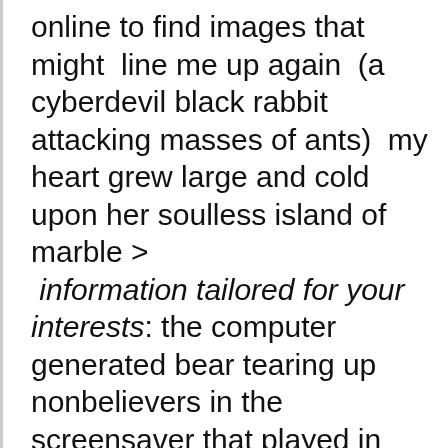online to find images that might line me up again (a cyberdevil black rabbit attacking masses of ants) my heart grew large and cold upon her soulless island of marble > information tailored for your interests: the computer generated bear tearing up nonbelievers in the screensaver that played in digital Thulos churches (shut down 2 yrs ago under fed. ordinance 12-879gf): unfortunately MORE NON-RACING NEWS based on YOUR